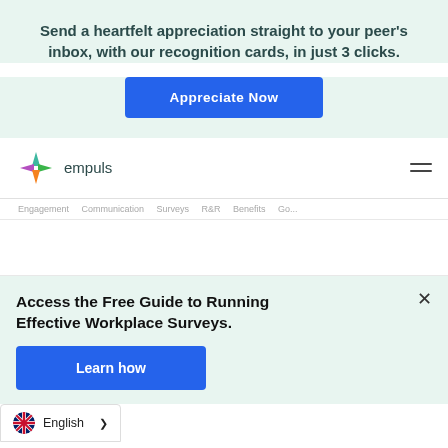Send a heartfelt appreciation straight to your peer's inbox, with our recognition cards, in just 3 clicks.
[Figure (other): Blue 'Appreciate Now' call-to-action button on a mint/teal background]
[Figure (logo): Empuls logo with colorful four-pointed star icon and text 'empuls']
Engagement   Communication   Surveys   R&R   Benefits   Go...
Access the Free Guide to Running Effective Workplace Surveys.
[Figure (other): Blue 'Learn how' call-to-action button on mint/teal background banner]
English >